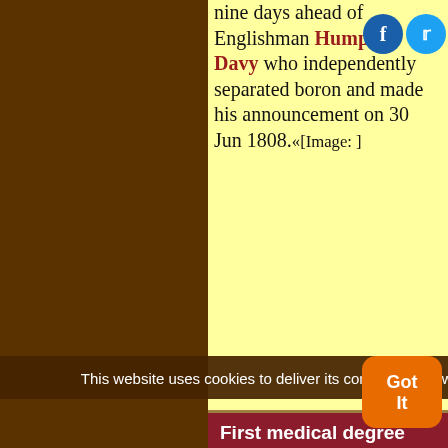nine days ahead of Englishman Humphry Davy who independently separated boron and made his announcement on 30 Jun 1808.«[Image: ]
First medical degree
In 1768, the first commencement of a U.S. medical college was held at the College of Philadelphia, Pennsylvania. When the Department of Medicine it was established in
This website uses cookies to deliver its content, to show relevant ads and to analyze its traffic. Learn More
Got It